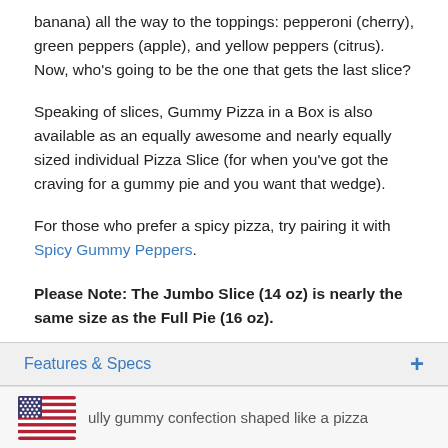banana) all the way to the toppings: pepperoni (cherry), green peppers (apple), and yellow peppers (citrus). Now, who's going to be the one that gets the last slice?
Speaking of slices, Gummy Pizza in a Box is also available as an equally awesome and nearly equally sized individual Pizza Slice (for when you've got the craving for a gummy pie and you want that wedge).
For those who prefer a spicy pizza, try pairing it with Spicy Gummy Peppers.
Please Note: The Jumbo Slice (14 oz) is nearly the same size as the Full Pie (16 oz).
For people who like: christmas gifts for kids, gifts for kids, gifts for the person who has everything, gummy, made by hand, made in the usa, strange stuff, sweets
Features & Specs
ully gummy confection shaped like a pizza